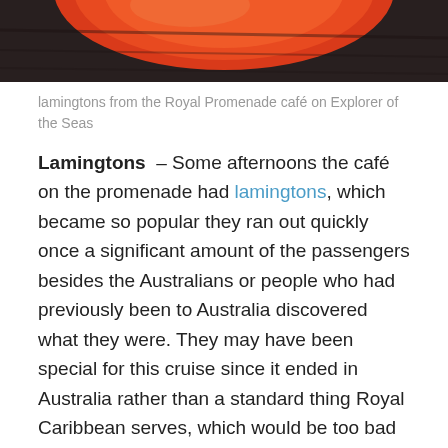[Figure (photo): Partial view of red/orange food item (lamington) on dark background, cropped at top of page]
lamingtons from the Royal Promenade café on Explorer of the Seas
Lamingtons – Some afternoons the café on the promenade had lamingtons, which became so popular they ran out quickly once a significant amount of the passengers besides the Australians or people who had previously been to Australia discovered what they were. They may have been special for this cruise since it ended in Australia rather than a standard thing Royal Caribbean serves, which would be too bad because they were delicious.
MISSES